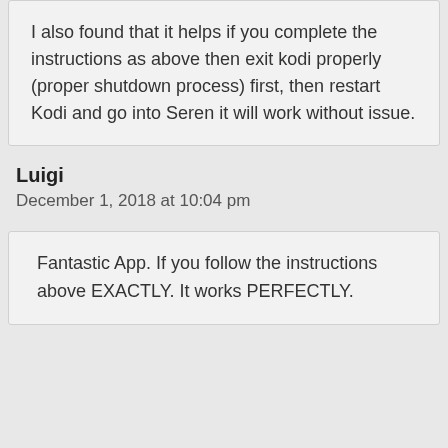I also found that it helps if you complete the instructions as above then exit kodi properly (proper shutdown process) first, then restart Kodi and go into Seren it will work without issue.
Luigi
December 1, 2018 at 10:04 pm
Fantastic App. If you follow the instructions above EXACTLY. It works PERFECTLY.